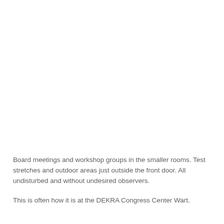Board meetings and workshop groups in the smaller rooms. Test stretches and outdoor areas just outside the front door. All undisturbed and without undesired observers.

This is often how it is at the DEKRA Congress Center Wart.